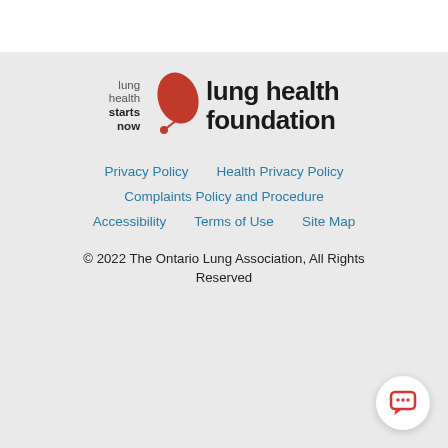[Figure (logo): Lung Health Foundation logo with red leaf icon and text 'lung health starts now' on the left, and 'lung health foundation' in large bold text on the right]
Privacy Policy    Health Privacy Policy
Complaints Policy and Procedure
Accessibility    Terms of Use    Site Map
© 2022 The Ontario Lung Association, All Rights Reserved